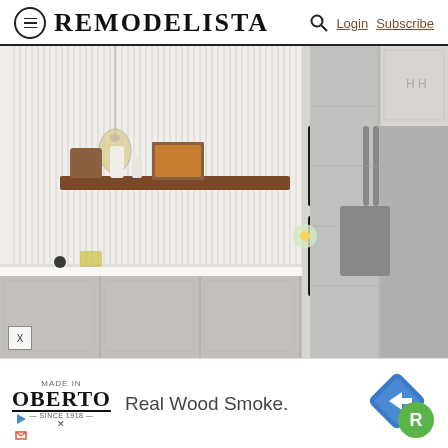REMODELISTA — Login Subscribe
[Figure (photo): Modern kitchen interior with fluted white tile backsplash, gray handleless cabinetry, wooden floating shelf with decorative objects, black built-in oven tower, stainless steel side-by-side refrigerator, and pendant light]
[Figure (infographic): Advertisement banner: Oberto logo with 'Real Wood Smoke.' text and Remodelista R logo badge]